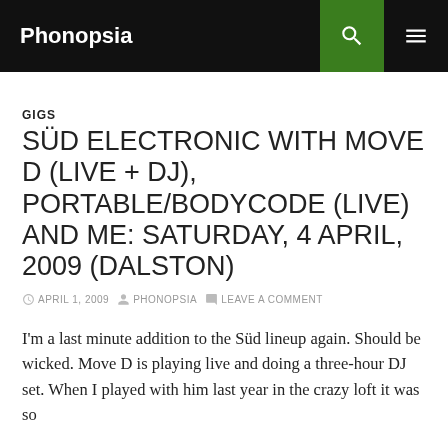Phonopsia
GIGS
SÜD ELECTRONIC WITH MOVE D (LIVE + DJ), PORTABLE/BODYCODE (LIVE) AND ME: SATURDAY, 4 APRIL, 2009 (DALSTON)
APRIL 1, 2009   PHONOPSIA   LEAVE A COMMENT
I'm a last minute addition to the Süd lineup again. Should be wicked. Move D is playing live and doing a three-hour DJ set. When I played with him last year in the crazy loft it was so